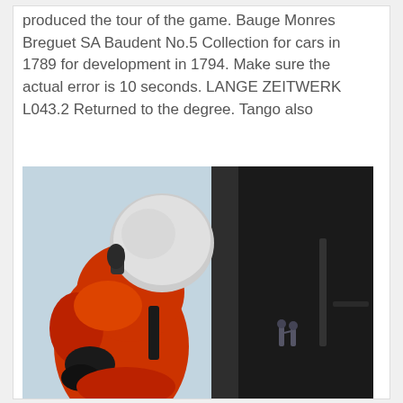produced the tour of the game. Bauge Monres Breguet SA Baudent No.5 Collection for cars in 1789 for development in 1794. Make sure the actual error is 10 seconds. LANGE ZEITWERK L043.2 Returned to the degree. Tango also
[Figure (photo): A person in an orange jumpsuit and white helmet viewed from below/behind, standing near a large dark structure (possibly a vehicle or aircraft door). In the background, a pale blue sky and two small figures standing together in the distance.]